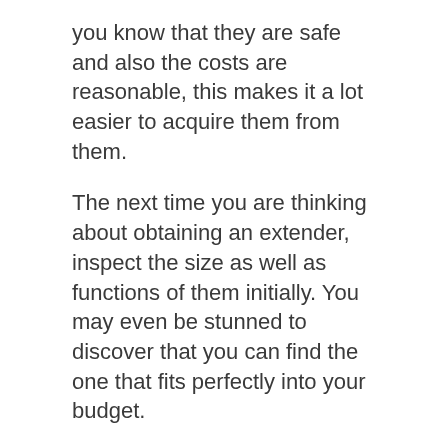you know that they are safe and also the costs are reasonable, this makes it a lot easier to acquire them from them.
The next time you are thinking about obtaining an extender, inspect the size as well as functions of them initially. You may even be stunned to discover that you can find the one that fits perfectly into your budget.
Our Top Recommended Extender
[Figure (photo): Product image showing an extender device with packaging box on the left and product on a black background on the right, in blue/cyan colors.]